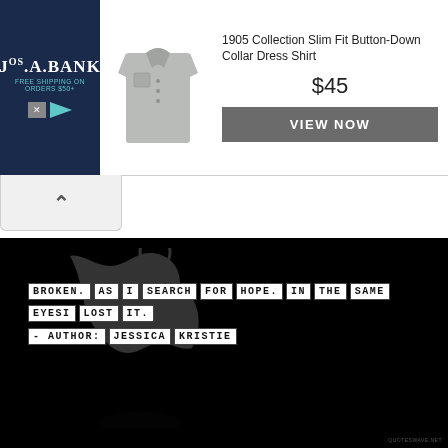[Figure (screenshot): Jos. A. Bank advertisement banner showing a slim fit dress shirt, price $45, with VIEW NOW button]
1905 Collection Slim Fit Button-Down Collar Dress Shirt
$45
VIEW NOW
[Figure (photo): Dark black background with Apple logo watermark and quote text in white bordered boxes: BROKEN. AS I SEARCH FOR HOPE. IN THE SAME EYES I LOST IT. - AUTHOR: JESSICA KRISTIE]